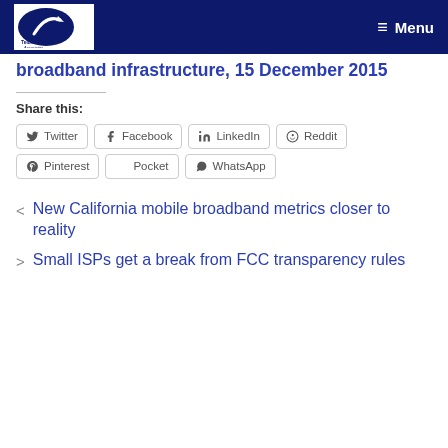Telus Venture Associates — Menu
broadband infrastructure, 15 December 2015
Share this:
Twitter  Facebook  LinkedIn  Reddit  Pinterest  Pocket  WhatsApp
< New California mobile broadband metrics closer to reality
> Small ISPs get a break from FCC transparency rules